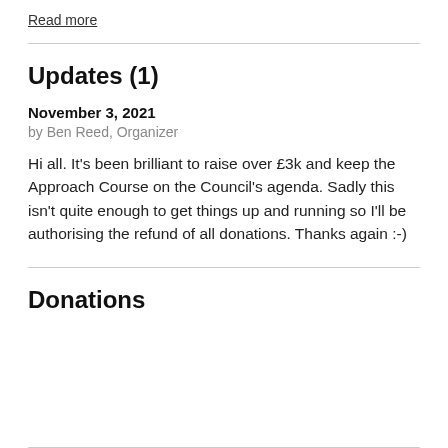Read more
Updates (1)
November 3, 2021
by Ben Reed, Organizer
Hi all. It's been brilliant to raise over £3k and keep the Approach Course on the Council's agenda. Sadly this isn't quite enough to get things up and running so I'll be authorising the refund of all donations. Thanks again :-)
Donations